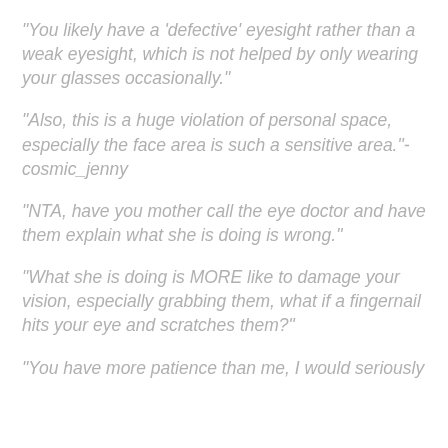“You likely have a ‘defective’ eyesight rather than a weak eyesight, which is not helped by only wearing your glasses occasionally.”
“Also, this is a huge violation of personal space, especially the face area is such a sensitive area.”- cosmic_jenny
“NTA, have you mother call the eye doctor and have them explain what she is doing is wrong.”
“What she is doing is MORE like to damage your vision, especially grabbing them, what if a fingernail hits your eye and scratches them?”
“You have more patience than me, I would seriously